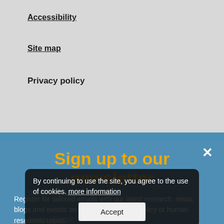Accessibility
Site map
Privacy policy
[Figure (screenshot): Newsletter sign-up modal overlay on a website. Blue background with an X close button. Title reads 'Sign up to our newsletter' in gold/yellow bold text. Body text reads 'Register for tailored emails with our latest research, news, blogs and events on public employment policy or human resources topics.' with a 'Sign up now' call-to-action button partially visible. Behind and underneath the modal: site navigation links including 'Site navigation', 'Areas of work', 'Services', 'News & Press' are faintly visible in the blue background. A cookie consent bar overlays at the bottom reading 'By continuing to use the site, you agree to the use of cookies. more information' with an Accept button.]
By continuing to use the site, you agree to the use of cookies. more information
Accept
Sign up to our newsletter
Register for tailored emails with our latest research, news, blogs and events on public employment policy or human resources topics.
Site navigation
Areas of work
Services
News & Press